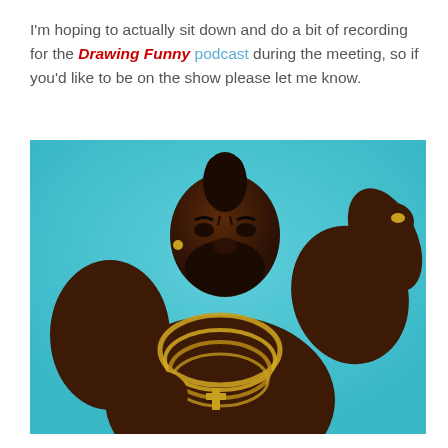I'm hoping to actually sit down and do a bit of recording for the Drawing Funny podcast during the meeting, so if you'd like to be on the show please let me know.
[Figure (photo): A muscular man with gold chains and jewelry posing against a teal background, flexing his right arm upward with a fierce expression.]